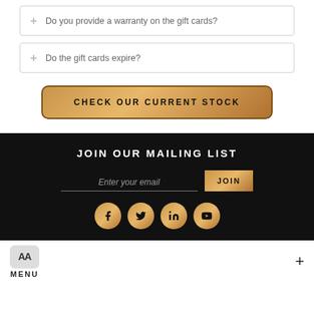+ Do you provide a warranty on the gift cards?
+ Do the gift cards expire?
[Figure (screenshot): Gold gradient button labeled CHECK OUR CURRENT STOCK]
JOIN OUR MAILING LIST
[Figure (screenshot): Email signup form with Enter your email field and JOIN button, plus social media icons for Facebook, Twitter, LinkedIn, YouTube]
MENU